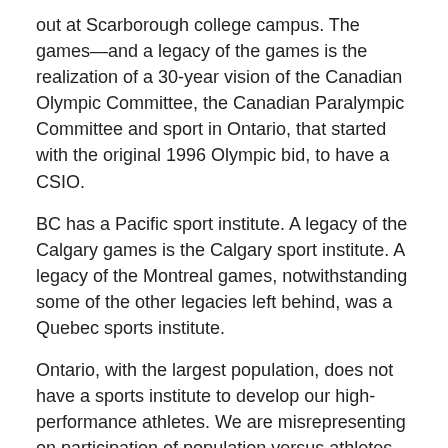out at Scarborough college campus. The games—and a legacy of the games is the realization of a 30-year vision of the Canadian Olympic Committee, the Canadian Paralympic Committee and sport in Ontario, that started with the original 1996 Olympic bid, to have a CSIO.
BC has a Pacific sport institute. A legacy of the Calgary games is the Calgary sport institute. A legacy of the Montreal games, notwithstanding some of the other legacies left behind, was a Quebec sports institute.
Ontario, with the largest population, does not have a sports institute to develop our high-performance athletes. We are misrepresenting on participation of population versus athletes. We're not carrying our weight, some would say, in the high-performance community. The way you carry your weight is by investing in a high-performance sport facility.
In the estimates and in the commitments that the government made to support high-performance sport, of